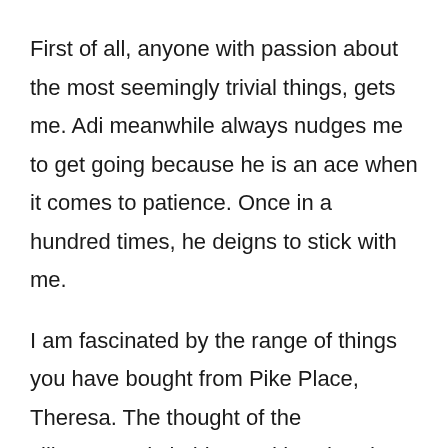First of all, anyone with passion about the most seemingly trivial things, gets me. Adi meanwhile always nudges me to get going because he is an ace when it comes to patience. Once in a hundred times, he deigns to stick with me.
I am fascinated by the range of things you have bought from Pike Place, Theresa. The thought of the silkscreened clothing and handmade wooden pen cases, sheepskin slippers...makes it sound like a stop on the Silk Route. Of course, this is just my imagination. It tends to romanticise places and people, often embarrassingly. I did not know that the stalls can belong to only artists. That